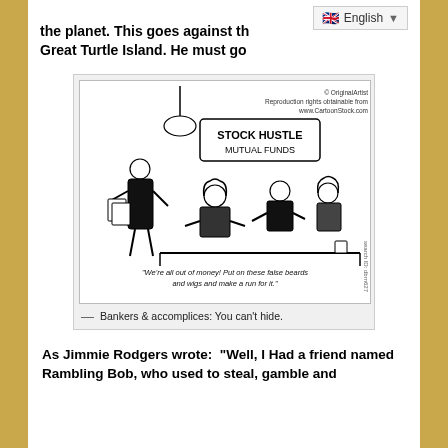the planet. This goes against th... Great Turtle Island. He must go
[Figure (illustration): A cartoon showing a scene inside 'Stock Hustle Mutual Funds' office. A man in a suit stands holding papers speaking to seated clients. Caption inside reads: "We're all out of money! Put on these false beards and wigs and make a run for it." Copyright OriginalArtist, CartoonStock.com]
— Bankers & accomplices: You can't hide.
As Jimmie Rodgers wrote:  "Well, I Had a friend named Rambling Bob, who used to steal, gamble and